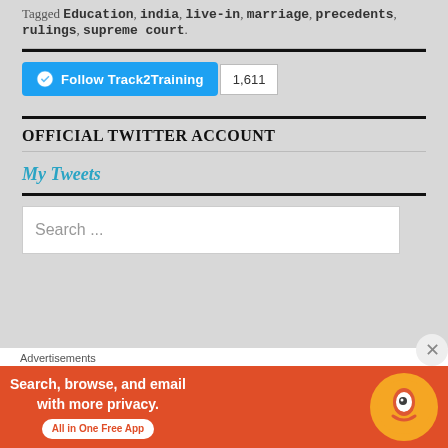Tagged Education, india, live-in, marriage, precedents, rulings, supreme court.
[Figure (other): Follow Track2Training WordPress follow button with count 1,611]
OFFICIAL TWITTER ACCOUNT
My Tweets
Search ...
Advertisements
[Figure (other): DuckDuckGo advertisement banner: Search, browse, and email with more privacy. All in One Free App]